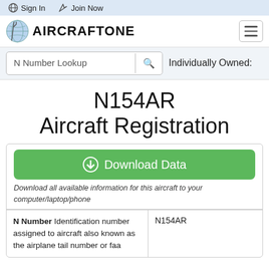Sign In   Join Now
[Figure (logo): AircraftOne logo with globe icon]
N Number Lookup   Individually Owned:
N154AR
Aircraft Registration
Download Data
Download all available information for this aircraft to your computer/laptop/phone
| N Number Identification number assigned to aircraft also known as the airplane tail number or faa | N154AR |